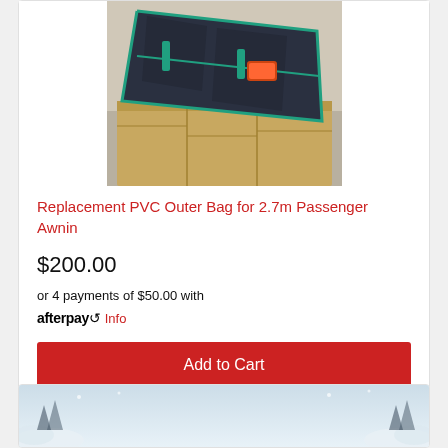[Figure (photo): Photo of a folded dark navy blue PVC bag/cover sitting on cardboard boxes in a warehouse or garage setting]
Replacement PVC Outer Bag for 2.7m Passenger Awnin
$200.00
or 4 payments of $50.00 with afterpay Info
Add to Cart
[Figure (illustration): Winter Explorer Package promotional banner with snowy landscape background and bold blue text]